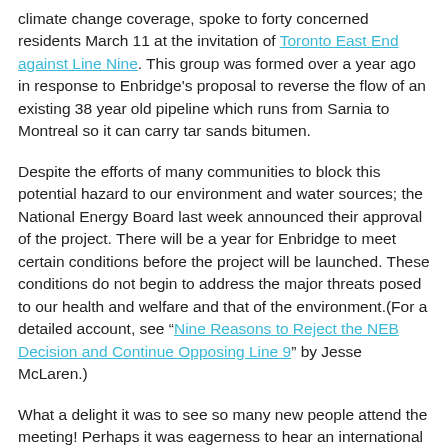climate change coverage, spoke to forty concerned residents March 11 at the invitation of Toronto East End against Line Nine. This group was formed over a year ago in response to Enbridge's proposal to reverse the flow of an existing 38 year old pipeline which runs from Sarnia to Montreal so it can carry tar sands bitumen.
Despite the efforts of many communities to block this potential hazard to our environment and water sources; the National Energy Board last week announced their approval of the project. There will be a year for Enbridge to meet certain conditions before the project will be launched. These conditions do not begin to address the major threats posed to our health and welfare and that of the environment.(For a detailed account, see “Nine Reasons to Reject the NEB Decision and Continue Opposing Line 9” by Jesse McLaren.)
What a delight it was to see so many new people attend the meeting! Perhaps it was eagerness to hear an international environmental journalist of Stephen